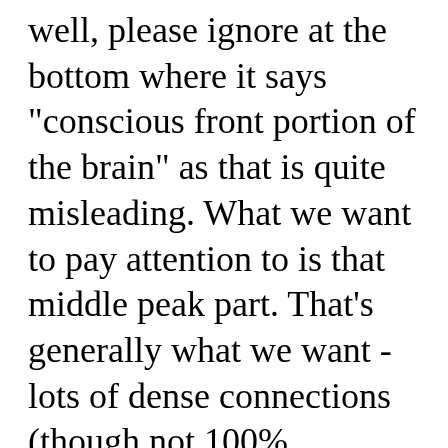well, please ignore at the bottom where it says "conscious front portion of the brain" as that is quite misleading. What we want to pay attention to is that middle peak part. That's generally what we want - lots of dense connections (though not 100% necessarily - more in a moment). What I need you to really pay attention to is to the right. For most people that's what will happen. That's what cognitive